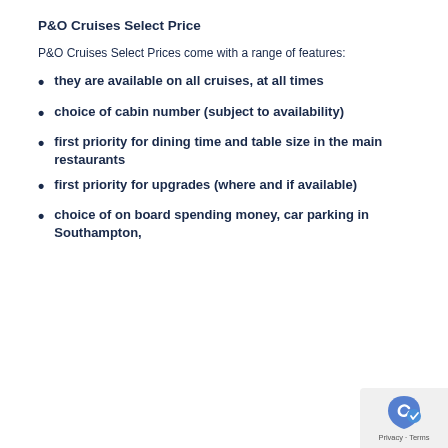P&O Cruises Select Price
P&O Cruises Select Prices come with a range of features:
they are available on all cruises, at all times
choice of cabin number (subject to availability)
first priority for dining time and table size in the main restaurants
first priority for upgrades (where and if available)
choice of on board spending money, car parking in Southampton,